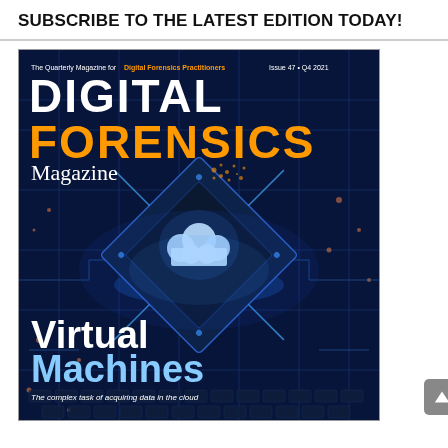SUBSCRIBE TO THE LATEST EDITION TODAY!
[Figure (illustration): Cover of Digital Forensics Magazine Issue 47, Q4 2021. Features the title 'DIGITAL FORENSICS Magazine' with 'Virtual Machines' and subtitle 'The complex task of acquiring data in the cloud'. Background is a dark blue circuit board with a glowing cloud icon on a processor chip.]